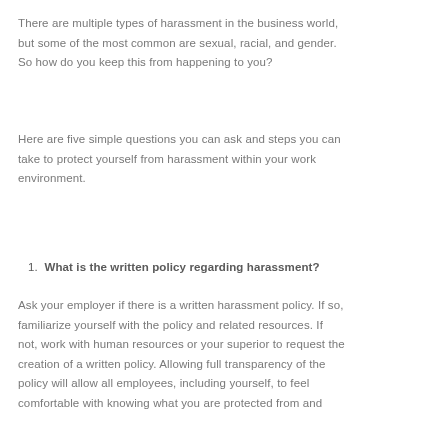There are multiple types of harassment in the business world, but some of the most common are sexual, racial, and gender. So how do you keep this from happening to you?
Here are five simple questions you can ask and steps you can take to protect yourself from harassment within your work environment.
1. What is the written policy regarding harassment?
Ask your employer if there is a written harassment policy. If so, familiarize yourself with the policy and related resources. If not, work with human resources or your superior to request the creation of a written policy. Allowing full transparency of the policy will allow all employees, including yourself, to feel comfortable with knowing what you are protected from and